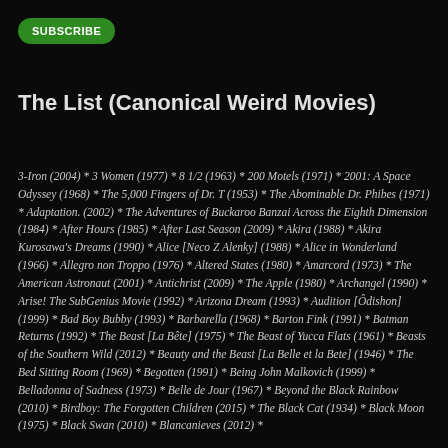SUBSCRIBE
The List (Canonical Weird Movies)
3-Iron (2004) * 3 Women (1977) * 8 1/2 (1963) * 200 Motels (1971) * 2001: A Space Odyssey (1968) * The 5,000 Fingers of Dr. T (1953) * The Abominable Dr. Phibes (1971) * Adaptation. (2002) * The Adventures of Buckaroo Banzai Across the Eighth Dimension (1984) * After Hours (1985) * After Last Season (2009) * Akira (1988) * Akira Kurosawa's Dreams (1990) * Alice [Neco Z Alenky] (1988) * Alice in Wonderland (1966) * Allegro non Troppo (1976) * Altered States (1980) * Amarcord (1973) * The American Astronaut (2001) * Antichrist (2009) * The Apple (1980) * Archangel (1990) * Arise! The SubGenius Movie (1992) * Arizona Dream (1993) * Audition [Ôdishon] (1999) * Bad Boy Bubby (1993) * Barbarella (1968) * Barton Fink (1991) * Batman Returns (1992) * The Beast [La Bête] (1975) * The Beast of Yucca Flats (1961) * Beasts of the Southern Wild (2012) * Beauty and the Beast [La Belle et la Bete] (1946) * The Bed Sitting Room (1969) * Begotten (1991) * Being John Malkovich (1999) * Belladonna of Sadness (1973) * Belle de Jour (1967) * Beyond the Black Rainbow (2010) * Birdboy: The Forgotten Children (2015) * The Black Cat (1934) * Black Moon (1975) * Black Swan (2010) * Blancanieves (2012) *